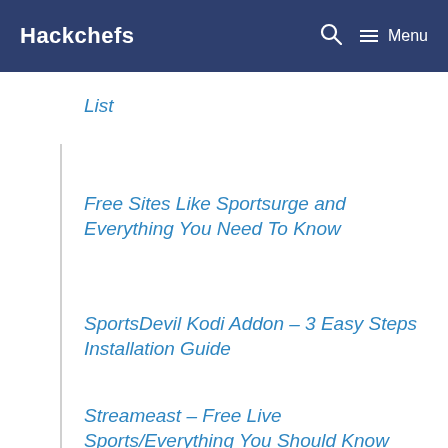Hackchefs  Menu
List
Free Sites Like Sportsurge and Everything You Need To Know
SportsDevil Kodi Addon – 3 Easy Steps Installation Guide
Streameast – Free Live Sports/Everything You Should Know